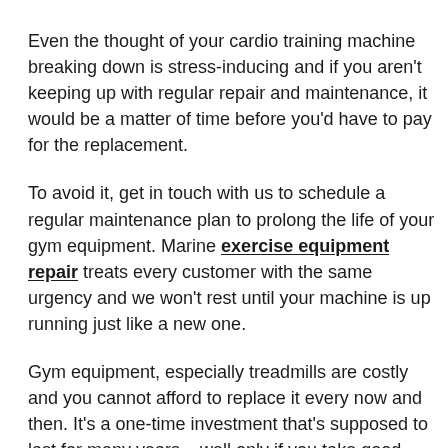Even the thought of your cardio training machine breaking down is stress-inducing and if you aren't keeping up with regular repair and maintenance, it would be a matter of time before you'd have to pay for the replacement.
To avoid it, get in touch with us to schedule a regular maintenance plan to prolong the life of your gym equipment. Marine exercise equipment repair treats every customer with the same urgency and we won't rest until your machine is up running just like a new one.
Gym equipment, especially treadmills are costly and you cannot afford to replace it every now and then. It's a one-time investment that's supposed to last for many years – well only if you take good care of it. They suffer over time from frequent use and investing some money into treadmill maintenance will save you costly repair down the road. All you need to do is make a call and we will